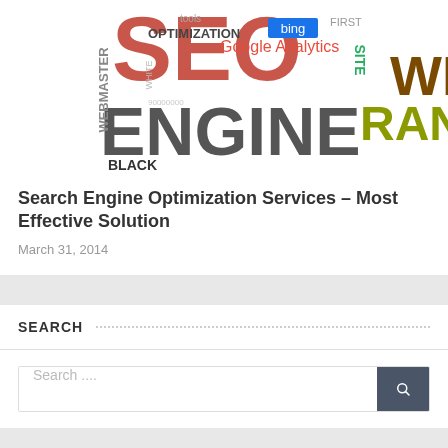[Figure (illustration): SEO word cloud / tag cloud image with terms like SEO, ENGINE, RANK, WEB, Google Analytics, OPTIMIZATION, WEBMASTER, BLACK, bing, Automation, SITE, FIRST, tools, WHITE, etc. in various colors and sizes.]
Search Engine Optimization Services – Most Effective Solution
March 31, 2014
SEARCH
Search ....
CATEGORIES
Categories